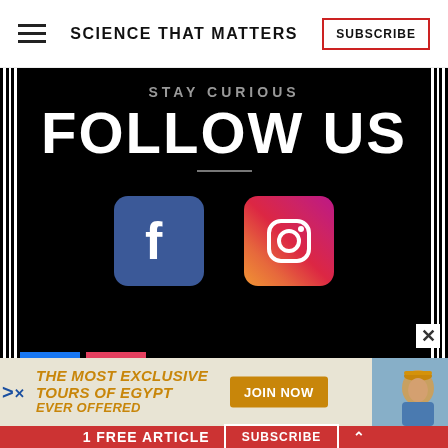SCIENCE THAT MATTERS | SUBSCRIBE
[Figure (screenshot): Dark promotional section with 'STAY CURIOUS / FOLLOW US' text and Facebook and Instagram social media icons on black background with vertical white line borders]
[Figure (infographic): Advertisement banner: 'THE MOST EXCLUSIVE TOURS OF EGYPT EVER OFFERED' with 'JOIN NOW' button and photo of man in hat]
1 FREE ARTICLE  SUBSCRIBE ^